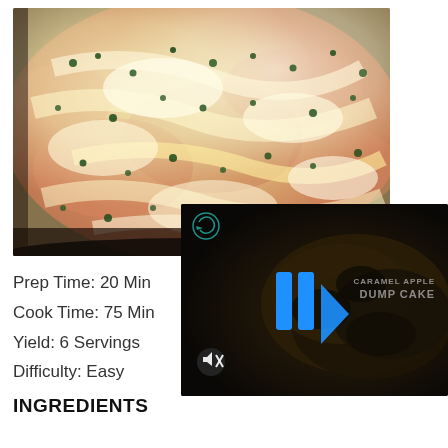[Figure (photo): Close-up photo of a baked pizza or pasta dish with melted mozzarella cheese, tomato sauce, and green herb garnish in a dark pan]
[Figure (screenshot): Video overlay thumbnail showing a dark food dish (caramel apple dump cake) with a play button icon in blue, a refresh/loop icon, mute button, and text 'CARAMEL APPLE DUMP CAKE']
Prep Time: 20 Min
Cook Time: 75 Min
Yield: 6 Servings
Difficulty: Easy
INGREDIENTS